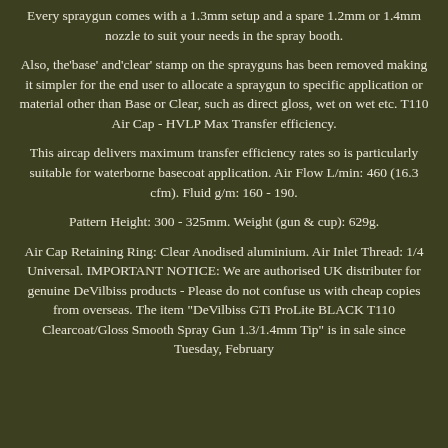Every spraygun comes with a 1.3mm setup and a spare 1.2mm or 1.4mm nozzle to suit your needs in the spray booth.
Also, the'base' and'clear' stamp on the sprayguns has been removed making it simpler for the end user to allocate a spraygun to specific application or material other than Base or Clear, such as direct gloss, wet on wet etc. T110 Air Cap - HVLP Max Transfer efficiency.
This aircap delivers maximum transfer efficiency rates so is particularly suitable for waterborne basecoat application. Air Flow L/min: 460 (16.3 cfm). Fluid g/m: 160 - 190.
Pattern Height: 300 - 325mm. Weight (gun & cup): 629g.
Air Cap Retaining Ring: Clear Anodised aluminium. Air Inlet Thread: 1/4 Universal. IMPORTANT NOTICE: We are authorised UK distributer for genuine DeVilbiss products - Please do not confuse us with cheap copies from overseas. The item "DeVilbiss GTi ProLite BLACK T110 Clearcoat/Gloss Smooth Spray Gun 1.3/1.4mm Tip" is in sale since Tuesday, February